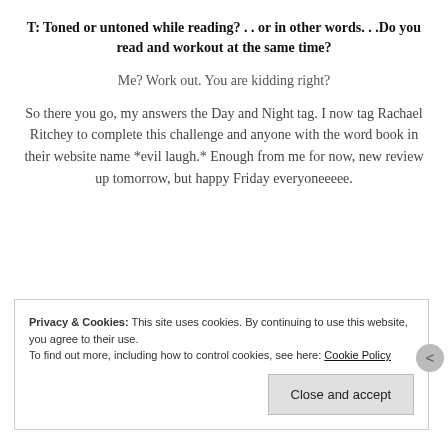T: Toned or untoned while reading? . . or in other words. . .Do you read and workout at the same time?
Me? Work out. You are kidding right?
So there you go, my answers the Day and Night tag. I now tag Rachael Ritchey to complete this challenge and anyone with the word book in their website name *evil laugh.* Enough from me for now, new review up tomorrow, but happy Friday everyoneeeee.
Privacy & Cookies: This site uses cookies. By continuing to use this website, you agree to their use.
To find out more, including how to control cookies, see here: Cookie Policy